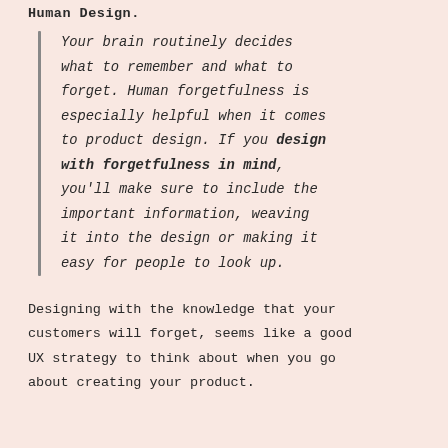Human Design.
Your brain routinely decides what to remember and what to forget. Human forgetfulness is especially helpful when it comes to product design. If you design with forgetfulness in mind, you'll make sure to include the important information, weaving it into the design or making it easy for people to look up.
Designing with the knowledge that your customers will forget, seems like a good UX strategy to think about when you go about creating your product.